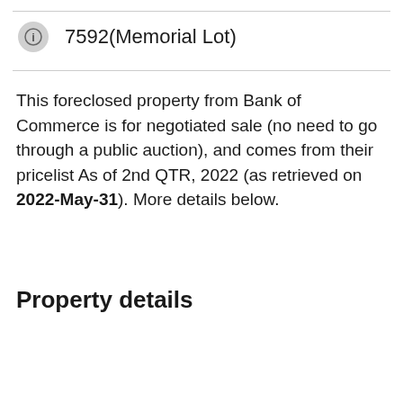7592(Memorial Lot)
This foreclosed property from Bank of Commerce is for negotiated sale (no need to go through a public auction), and comes from their pricelist As of 2nd QTR, 2022 (as retrieved on 2022-May-31). More details below.
Property details